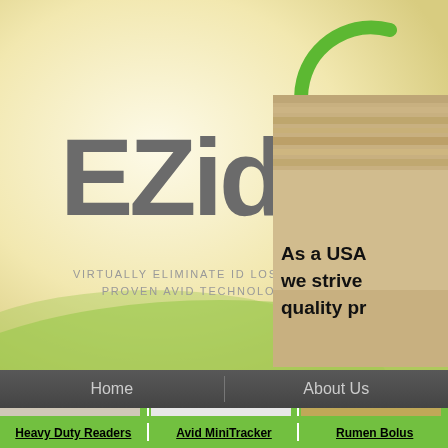[Figure (logo): EZid logo with green circular arc above gray bold EZid text, on a cream/yellow gradient background with green wave. Tagline reads VIRTUALLY ELIMINATE ID LOSS WITH PROVEN AVID TECHNOLOGY.]
[Figure (photo): Right panel showing wooden slats/straw background with bold text: As a USA we strive quality pr]
Home   About Us
[Figure (photo): Hand holding a heavy duty RFID reader device against a white surface]
[Figure (photo): Hand holding an Avid MiniTracker RFID scanner device]
[Figure (photo): Two white cylindrical rumen bolus devices on straw/hay background]
Heavy Duty Readers
Avid MiniTracker
Rumen Bolus